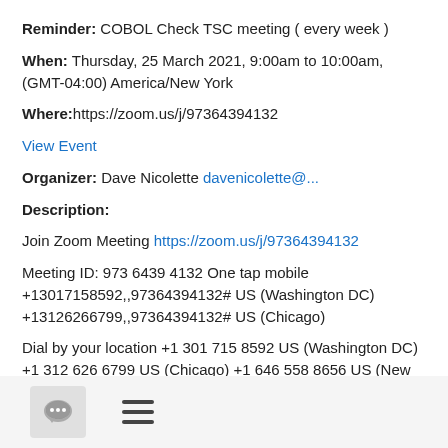Reminder: COBOL Check TSC meeting ( every week )
When: Thursday, 25 March 2021, 9:00am to 10:00am, (GMT-04:00) America/New York
Where: https://zoom.us/j/97364394132
View Event
Organizer: Dave Nicolette davenicolette@...
Description:
Join Zoom Meeting https://zoom.us/j/97364394132
Meeting ID: 973 6439 4132 One tap mobile +13017158592,,97364394132# US (Washington DC) +13126266799,,97364394132# US (Chicago)
Dial by your location +1 301 715 8592 US (Washington DC) +1 312 626 6799 US (Chicago) +1 646 558 8656 US (New York) +1 253 215 8782 US (Tacoma) +1 346 248 7799 US (Houston) +1
[Figure (infographic): Bottom navigation bar with chat bubble icon and hamburger menu icon]